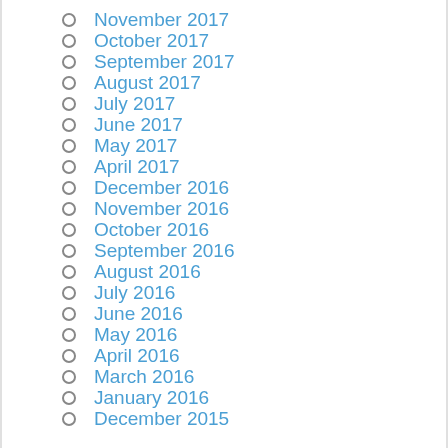November 2017
October 2017
September 2017
August 2017
July 2017
June 2017
May 2017
April 2017
December 2016
November 2016
October 2016
September 2016
August 2016
July 2016
June 2016
May 2016
April 2016
March 2016
January 2016
December 2015